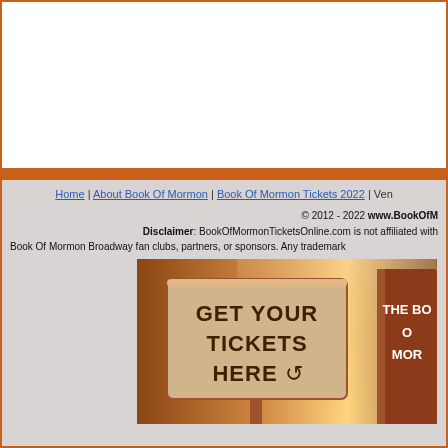Home | About Book Of Mormon | Book Of Mormon Tickets 2022 | Ven...
© 2012 - 2022 www.BookOfM... Disclaimer: BookOfMormonTicketsOnline.com is not affiliated with Book Of Mormon Broadway fan clubs, partners, or sponsors. Any trademark...
[Figure (photo): Promotional banner showing a wooden sign reading GET YOUR TICKETS HERE with a Book of Mormon book partially visible on the right side, warm orange/golden background lighting.]